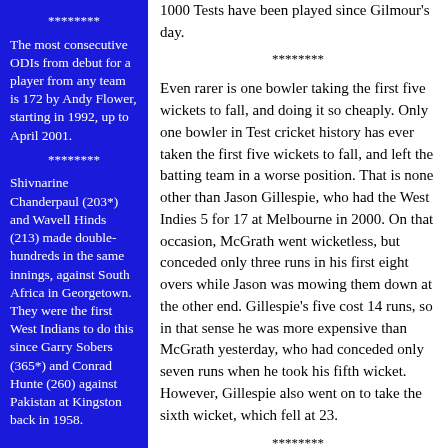1000 Tests have been played since Gilmour's day.
********
The most consecutive ODIs from debut for a player from any team is 172 by Andy Flower, starting in 1992, up to April 2001.
********
Shivnarine Chanderpaul (203*) and Wavell Hinds (213) made double-hundreds in the same innings, against South Africa in Georgetown. They were the first West Indians to do this since Garry Sobers (365*) and Conrad Hunte (260) against Pakistan at Kingston back in 1958.
********
Even rarer is one bowler taking the first five wickets to fall, and doing it so cheaply. Only one bowler in Test cricket history has ever taken the first five wickets to fall, and left the batting team in a worse position. That is none other than Jason Gillespie, who had the West Indies 5 for 17 at Melbourne in 2000. On that occasion, McGrath went wicketless, but conceded only three runs in his first eight overs while Jason was mowing them down at the other end. Gillespie's five cost 14 runs, so in that sense he was more expensive than McGrath yesterday, who had conceded only seven runs when he took his fifth wicket. However, Gillespie also went on to take the sixth wicket, which fell at 23.
********